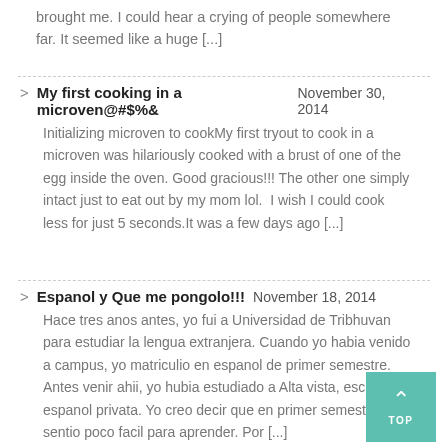brought me. I could hear a crying of people somewhere far. It seemed like a huge [...]
My first cooking in a microven@#$%& November 30, 2014 — Initializing microven to cookMy first tryout to cook in a microven was hilariously cooked with a brust of one of the egg inside the oven. Good gracious!!! The other one simply intact just to eat out by my mom lol. I wish I could cook less for just 5 seconds.It was a few days ago [...]
Espanol y Que me pongolo!!! November 18, 2014 — Hace tres anos antes, yo fui a Universidad de Tribhuvan para estudiar la lengua extranjera. Cuando yo habia venido a campus, yo matriculio en espanol de primer semestre. Antes venir ahii, yo hubia estudiado a Alta vista, escuela de espanol privata. Yo creo decir que en primer semestre, yo sentio poco facil para aprender. Por [...]